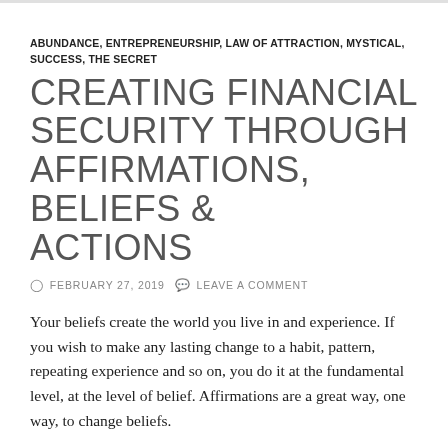ABUNDANCE, ENTREPRENEURSHIP, LAW OF ATTRACTION, MYSTICAL, SUCCESS, THE SECRET
CREATING FINANCIAL SECURITY THROUGH AFFIRMATIONS, BELIEFS & ACTIONS
FEBRUARY 27, 2019   LEAVE A COMMENT
Your beliefs create the world you live in and experience. If you wish to make any lasting change to a habit, pattern, repeating experience and so on, you do it at the fundamental level, at the level of belief. Affirmations are a great way, one way, to change beliefs.